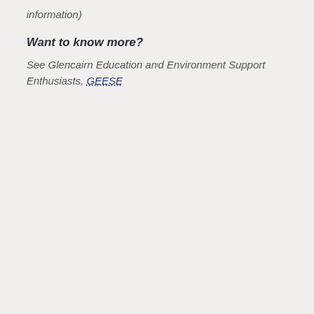information)
Want to know more?
See Glencairn Education and Environment Support Enthusiasts, GEESE